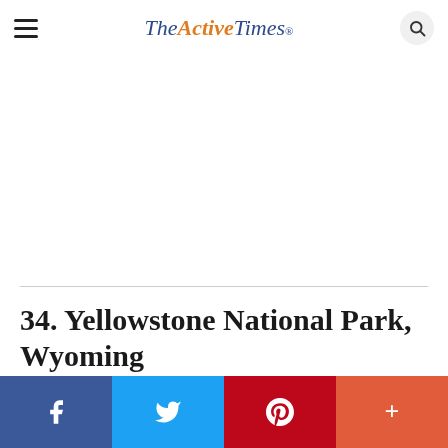TheActiveTimes
34. Yellowstone National Park, Wyoming
[Figure (other): Social share bar with Facebook, Twitter, Pinterest, and plus buttons]